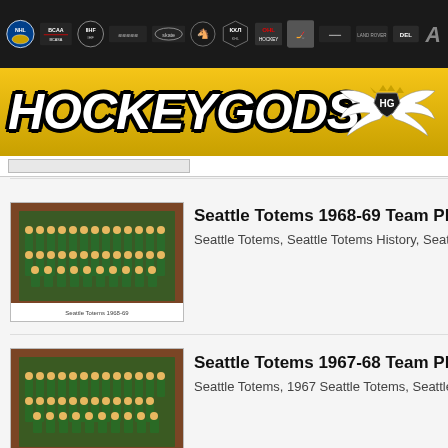[Figure (screenshot): HockeyGods website header with navigation bar showing various hockey league logos (NHL, IIHF, KHL, etc.) on black background]
[Figure (logo): HockeyGods logo with large yellow/gold background, white italic bold text 'HOCKEYGODS' with black outline, and winged HG emblem on the right]
[Figure (photo): Seattle Totems 1968-69 team photo thumbnail showing hockey team in green jerseys posed in rows]
Seattle Totems 1968-69 Team Photo with Autograph
Seattle Totems, Seattle Totems History, Seattle Tote
[Figure (photo): Seattle Totems 1967-68 team photo thumbnail showing hockey team in green jerseys posed in rows]
Seattle Totems 1967-68 Team Photo with Autograph
Seattle Totems, 1967 Seattle Totems, Seattle Totem
[Figure (photo): Seattle Totems 1966-67 team photo thumbnail showing hockey team in green jerseys posed in rows]
Seattle Totems 1966-67 Team Photo with Autograph
Seattle Totems, Seattle Totems Team Roster, Seattl
[Figure (photo): Seattle Totems 1965-66 team photo thumbnail showing hockey team posed in rows]
Seattle Totems 1965-66 Team Photo with Autograph
Seattle Totems, Seattle Totems History, Seattle Tote